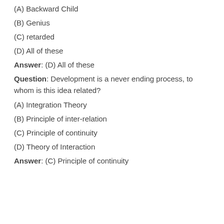(A) Backward Child
(B) Genius
(C) retarded
(D) All of these
Answer: (D) All of these
Question: Development is a never ending process, to whom is this idea related?
(A) Integration Theory
(B) Principle of inter-relation
(C) Principle of continuity
(D) Theory of Interaction
Answer: (C) Principle of continuity